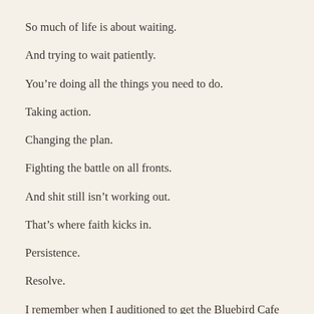So much of life is about waiting.
And trying to wait patiently.
You're doing all the things you need to do.
Taking action.
Changing the plan.
Fighting the battle on all fronts.
And shit still isn't working out.
That's where faith kicks in.
Persistence.
Resolve.
I remember when I auditioned to get the Bluebird Cafe nod for no soriter's night.